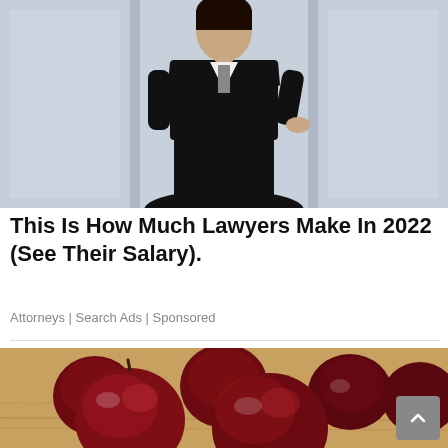[Figure (photo): Woman in black business suit standing in an office setting, partially cropped at the top]
This Is How Much Lawyers Make In 2022 (See Their Salary).
Attorneys | Search Ads | Sponsored
[Figure (photo): Close-up photo of several dark red glazed apples or similar round red fruits arranged on a wooden surface]